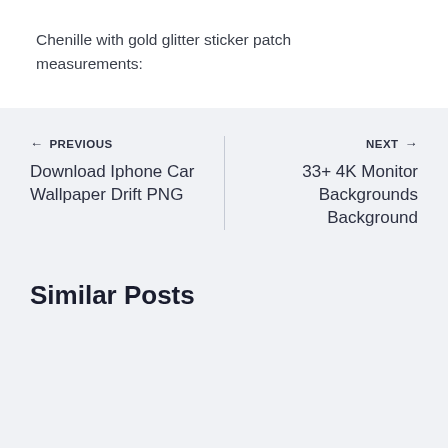Chenille with gold glitter sticker patch measurements:
← PREVIOUS
Download Iphone Car Wallpaper Drift PNG
NEXT →
33+ 4K Monitor Backgrounds Background
Similar Posts